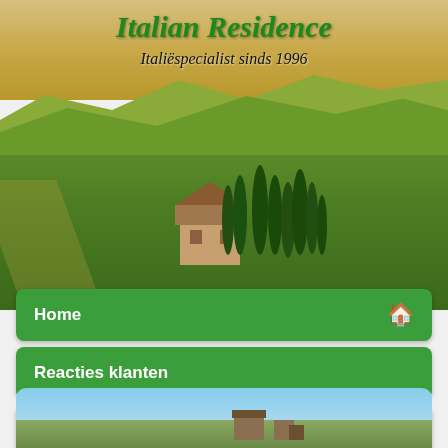[Figure (photo): Italian landscape hero image with rolling Tuscan hills, cypress trees, and golden fields. Logo overlay: 'Italian Residence' in green italic serif font, subtitle 'Italiëspecialist sinds 1996' in black italic.]
Italian Residence
Italiëspecialist sinds 1996
Home
Reacties klanten
Aanbiedingen  KORTING!
Zoek vakantiehuis
Zoek op kaart
Mijn favorieten (0)
[Figure (photo): Partial view of Italian building/scene at bottom of page]